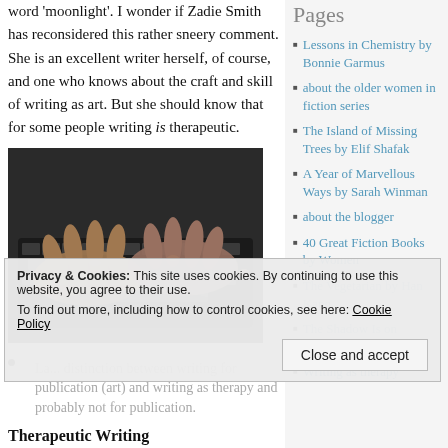word 'moonlight'. I wonder if Zadie Smith has reconsidered this rather sneery comment. She is an excellent writer herself, of course, and one who knows about the craft and skill of writing as art. But she should know that for some people writing is therapeutic.
[Figure (photo): Elderly person's hands typing on a computer keyboard, dark background.]
Last ... distinction between writing for publication (art) and writing as therapy and probably not for publication.
Therapeutic Writing
Privacy & Cookies: This site uses cookies. By continuing to use this website, you agree to their use. To find out more, including how to control cookies, see here: Cookie Policy
Close and accept
Pages
Lessons in Chemistry by Bonnie Garmus
about the older women in fiction series
The Island of Missing Trees by Elif Shafak
A Year of Marvellous Ways by Sarah Winman
about the blogger
40 Great Fiction Books by Women
The Vegetarian by Han Kang
The Shadow of the Wind by Carlos Ruiz Zafon Memarie
Writing as therapy